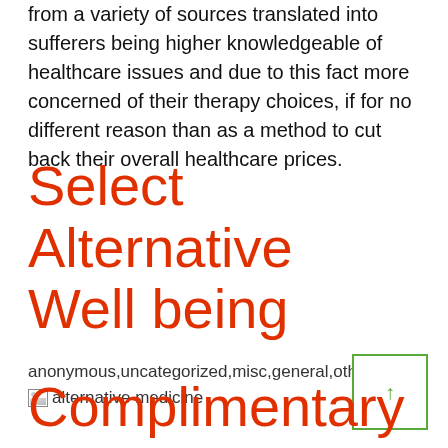from a variety of sources translated into sufferers being higher knowledgeable of healthcare issues and due to this fact more concerned of their therapy choices, if for no different reason than as a method to cut back their overall healthcare prices.
Select Alternative Well being
anonymous,uncategorized,misc,general,other
[Figure (photo): Broken/missing image placeholder labeled 'alternative medicine']
Complimentary Alternative Medicine